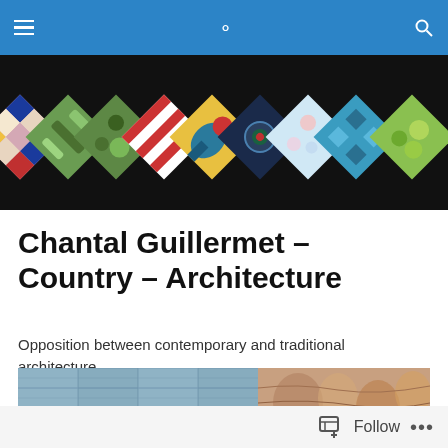Navigation bar with hamburger menu and search icon
[Figure (illustration): Decorative banner showing a row of diamond-shaped quilted fabric swatches with various colorful patterns arranged diagonally on a black background]
Chantal Guillermet – Country – Architecture
Opposition between contemporary and traditional architecture
[Figure (photo): Partial view of an artwork showing blue-gray woven or pleated fabric sections on the left and brown textured organic forms on the right]
Follow ...